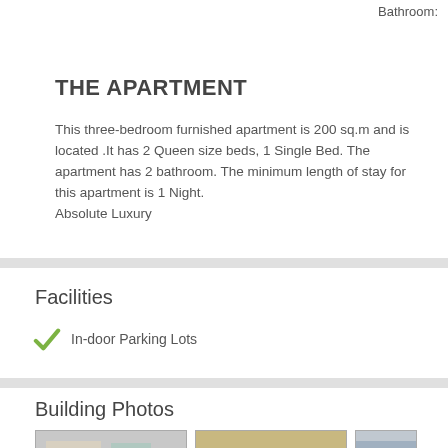Bathroom:
THE APARTMENT
This three-bedroom furnished apartment is 200 sq.m and is located .It has 2 Queen size beds, 1 Single Bed. The apartment has 2 bathroom. The minimum length of stay for this apartment is 1 Night.
Absolute Luxury
Facilities
In-door Parking Lots
Building Photos
[Figure (photo): Three thumbnail photos of building interior/rooms, partially visible at bottom of page]